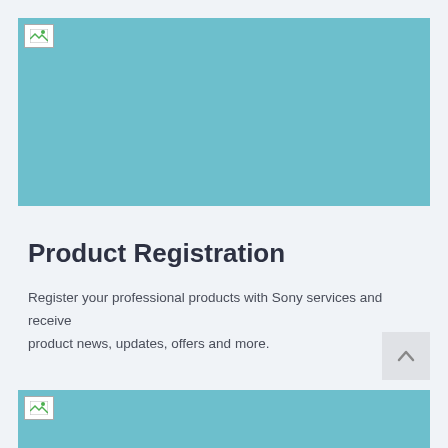[Figure (photo): Large banner image with teal/light blue background color, broken image icon in top-left corner]
Product Registration
Register your professional products with Sony services and receive product news, updates, offers and more.
[Figure (other): Scroll-to-top button with upward chevron arrow, light gray background]
[Figure (photo): Partial second banner image with teal/light blue background, broken image icon in top-left corner, partially visible at bottom of page]